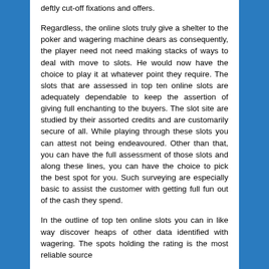deftly cut-off fixations and offers.
Regardless, the online slots truly give a shelter to the poker and wagering machine dears as consequently, the player need not need making stacks of ways to deal with move to slots. He would now have the choice to play it at whatever point they require. The slots that are assessed in top ten online slots are adequately dependable to keep the assertion of giving full enchanting to the buyers. The slot site are studied by their assorted credits and are customarily secure of all. While playing through these slots you can attest not being endeavoured. Other than that, you can have the full assessment of those slots and along these lines, you can have the choice to pick the best spot for you. Such surveying are especially basic to assist the customer with getting full fun out of the cash they spend.
In the outline of top ten online slots you can in like way discover heaps of other data identified with wagering. The spots holding the rating is the most reliable source